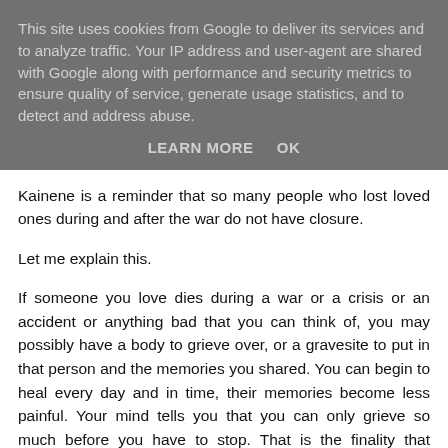This site uses cookies from Google to deliver its services and to analyze traffic. Your IP address and user-agent are shared with Google along with performance and security metrics to ensure quality of service, generate usage statistics, and to detect and address abuse.
LEARN MORE    OK
Kainene is a reminder that so many people who lost loved ones during and after the war do not have closure.
Let me explain this.
If someone you love dies during a war or a crisis or an accident or anything bad that you can think of, you may possibly have a body to grieve over, or a gravesite to put in that person and the memories you shared. You can begin to heal every day and in time, their memories become less painful. Your mind tells you that you can only grieve so much before you have to stop. That is the finality that comes with death.